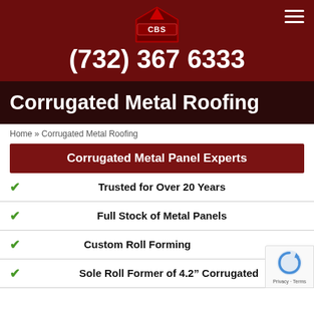[Figure (logo): CBS roofing company logo — red pentagon/house shape with CBS text inside, on dark red header background]
(732) 367 6333
Corrugated Metal Roofing
Home » Corrugated Metal Roofing
Corrugated Metal Panel Experts
Trusted for Over 20 Years
Full Stock of Metal Panels
Custom Roll Forming
Sole Roll Former of 4.2" Corrugated